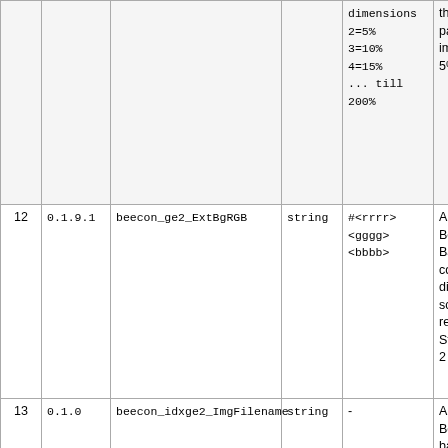| # | Version | Parameter | Type | Values | Description |
| --- | --- | --- | --- | --- | --- |
|  |  |  |  | dimensions
2=5%
3=10%
4=15%
... till
200% | the provided parameter image (1: 5%-200% |
| 12 | 0.1.9.1 | beecon_ge2_ExtBgRGB | string | #<rrrr>
<gggg>
<bbbb> | Applies to Beecons; Background color to be displayed script/com returns an Status eq 2 |
| 13 | 0.1.0 | beecon_idxge2_ImgFilename | string | - | Applies to Beecons; basename image to be displayed script/com returns an Status gre than or eq 3; Final in filename w built as |